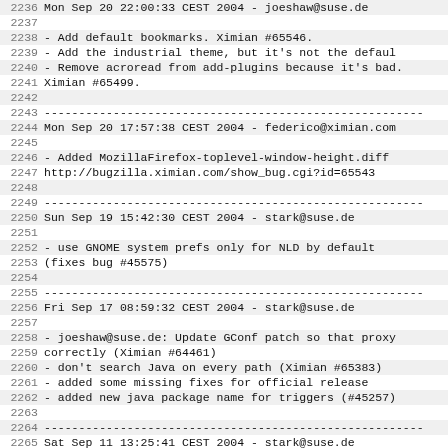2236    Mon Sep 20 22:00:33 CEST 2004 - joeshaw@suse.de
2237
2238    - Add default bookmarks.  Ximian #65546.
2239    - Add the industrial theme, but it's not the defaul
2240    - Remove acroread from add-plugins because it's bad.
2241      Ximian #65499.
2242
2243    -----------------------------------------------------------
2244    Mon Sep 20 17:57:38 CEST 2004 - federico@ximian.com
2245
2246    - Added MozillaFirefox-toplevel-window-height.diff
2247      http://bugzilla.ximian.com/show_bug.cgi?id=65543
2248
2249    -----------------------------------------------------------
2250    Sun Sep 19 15:42:30 CEST 2004 - stark@suse.de
2251
2252    - use GNOME system prefs only for NLD by default
2253      (fixes bug #45575)
2254
2255    -----------------------------------------------------------
2256    Fri Sep 17 08:59:32 CEST 2004 - stark@suse.de
2257
2258    - joeshaw@suse.de: Update GConf patch so that proxy
2259      correctly (Ximian #64461)
2260    - don't search Java on every path (Ximian #65383)
2261    - added some missing fixes for official release
2262    - added new java package name for triggers (#45257)
2263
2264    -----------------------------------------------------------
2265    Sat Sep 11 13:25:41 CEST 2004 - stark@suse.de
2266
2267    - update to official 1.0PR (0.10)
2268      adopted gnome.filepicker.patch